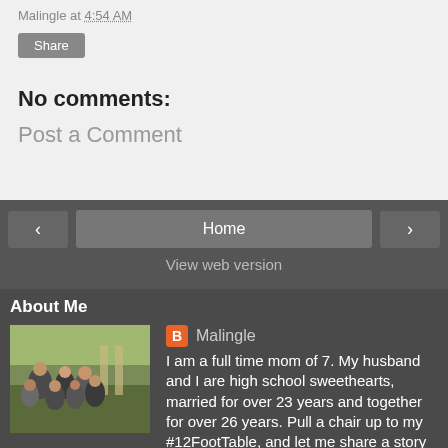Malingle at 4:54 AM
Share
No comments:
Post a Comment
‹
Home
›
View web version
About Me
[Figure (photo): Family photo with multiple people outdoors]
Malingle
I am a full time mom of 7. My husband and I are high school sweethearts, married for over 23 years and together for over 26 years. Pull a chair up to my #12FootTable, and let me share a story or two with you, that gratefully, I just can't make up!